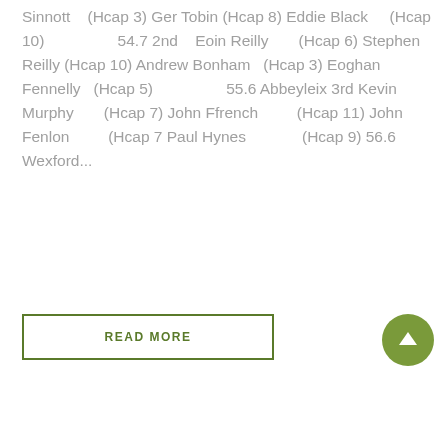Sinnott    (Hcap 3) Ger Tobin (Hcap 8) Eddie Black      (Hcap 10)                  54.7 2nd     Eoin Reilly       (Hcap 6) Stephen Reilly (Hcap 10) Andrew Bonham   (Hcap 3) Eoghan Fennelly   (Hcap 5)                  55.6 Abbeyleix 3rd Kevin Murphy       (Hcap 7) John Ffrench         (Hcap 11) John Fenlon          (Hcap 7 Paul Hynes              (Hcap 9) 56.6 Wexford...
READ MORE